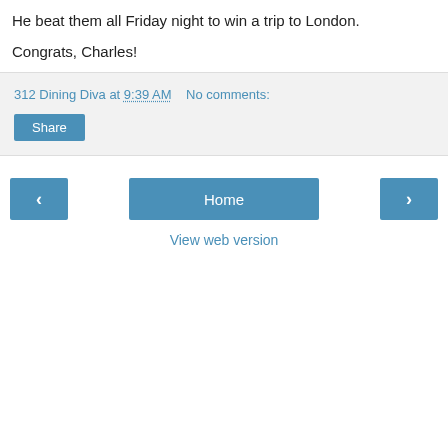He beat them all Friday night to win a trip to London.
Congrats, Charles!
312 Dining Diva at 9:39 AM   No comments:
Share
‹
Home
›
View web version